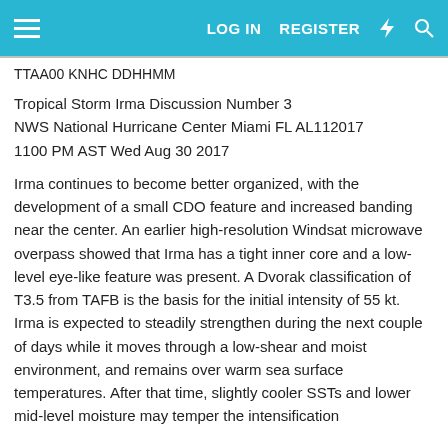LOG IN  REGISTER
TTAA00 KNHC DDHHMM
Tropical Storm Irma Discussion Number 3
NWS National Hurricane Center Miami FL AL112017
1100 PM AST Wed Aug 30 2017
Irma continues to become better organized, with the development of a small CDO feature and increased banding near the center. An earlier high-resolution Windsat microwave overpass showed that Irma has a tight inner core and a low-level eye-like feature was present. A Dvorak classification of T3.5 from TAFB is the basis for the initial intensity of 55 kt. Irma is expected to steadily strengthen during the next couple of days while it moves through a low-shear and moist environment, and remains over warm sea surface temperatures. After that time, slightly cooler SSTs and lower mid-level moisture may temper the intensification